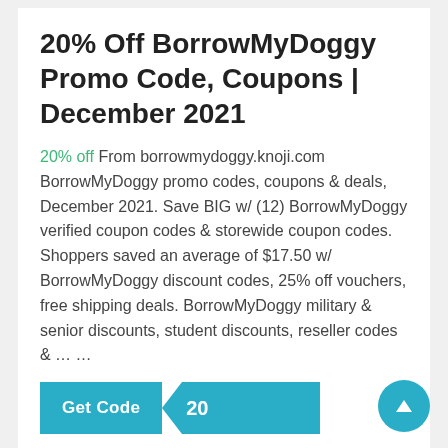20% Off BorrowMyDoggy Promo Code, Coupons | December 2021
20% off From borrowmydoggy.knoji.com BorrowMyDoggy promo codes, coupons & deals, December 2021. Save BIG w/ (12) BorrowMyDoggy verified coupon codes & storewide coupon codes. Shoppers saved an average of $17.50 w/ BorrowMyDoggy discount codes, 25% off vouchers, free shipping deals. BorrowMyDoggy military & senior discounts, student discounts, reseller codes & … …
[Figure (other): Get Code button with '20' label in teal/blue color]
20% Off Woofie's Promo Code, Coupons | November 2021